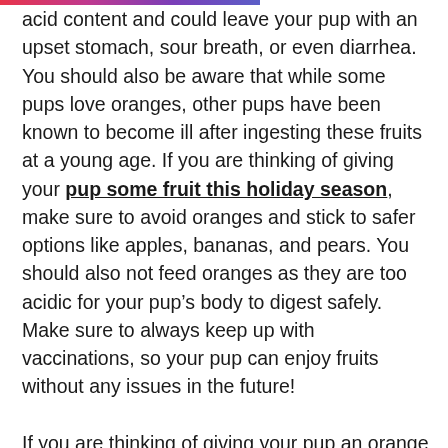acid content and could leave your pup with an upset stomach, sour breath, or even diarrhea. You should also be aware that while some pups love oranges, other pups have been known to become ill after ingesting these fruits at a young age. If you are thinking of giving your pup some fruit this holiday season, make sure to avoid oranges and stick to safer options like apples, bananas, and pears. You should also not feed oranges as they are too acidic for your pup’s body to digest safely. Make sure to always keep up with vaccinations, so your pup can enjoy fruits without any issues in the future!
If you are thinking of giving your pup an orange this holiday season, don’t do it- here’s why! The high acidity content of oranges can upset your pup’s stomach or leave him with sour breath. This is because while humans use saliva to neutralize the